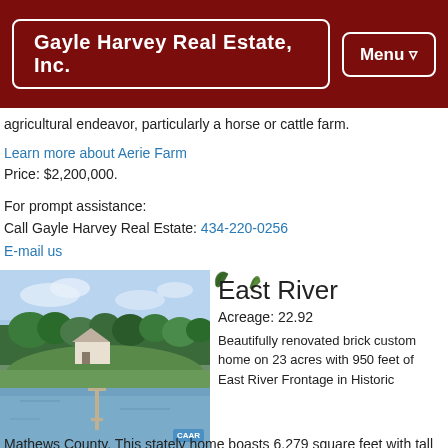Gayle Harvey Real Estate, Inc. | Menu
agricultural endeavor, particularly a horse or cattle farm.
Learn more about Aerie Farm
Price: $2,200,000.
For prompt assistance:
Call Gayle Harvey Real Estate: 434-220-0256
E-mail us
[Figure (illustration): Three green leaf/plant decorative divider icons]
[Figure (photo): Aerial photo of East River property showing waterfront land with dock and trees, with CAAR watermark badge]
East River
Acreage: 22.92
Beautifully renovated brick custom home on 23 acres with 950 feet of East River Frontage in Historic Mathews County. This stately home boasts 6,279 square feet with tall